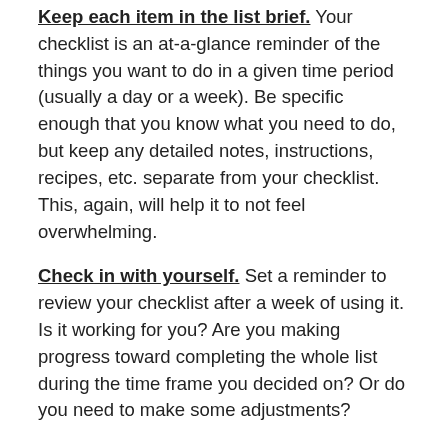Keep each item in the list brief. Your checklist is an at-a-glance reminder of the things you want to do in a given time period (usually a day or a week). Be specific enough that you know what you need to do, but keep any detailed notes, instructions, recipes, etc. separate from your checklist. This, again, will help it to not feel overwhelming.
Check in with yourself. Set a reminder to review your checklist after a week of using it. Is it working for you? Are you making progress toward completing the whole list during the time frame you decided on? Or do you need to make some adjustments?
Maybe your list is too long and you need to pare it down. Or maybe it's too short and you're not feeling as much of a difference in your level of wellbeing as you thought you would. Perhaps you're forgetting to look at it at all and need to post it somewhere more visible. Repeat this process every week until your checklist is working well and getting completed in full regularly. Then revisit it again every 3 to 6 months and adjust as